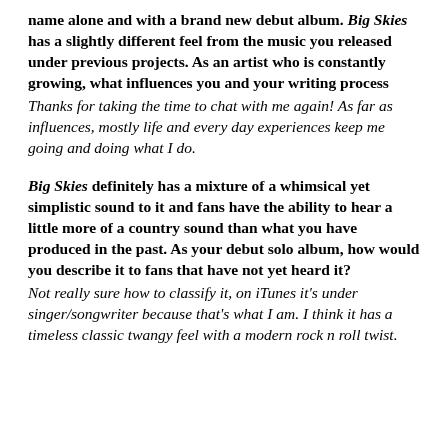name alone and with a brand new debut album. Big Skies has a slightly different feel from the music you released under previous projects. As an artist who is constantly growing, what influences you and your writing process
Thanks for taking the time to chat with me again! As far as influences, mostly life and every day experiences keep me going and doing what I do.
Big Skies definitely has a mixture of a whimsical yet simplistic sound to it and fans have the ability to hear a little more of a country sound than what you have produced in the past. As your debut solo album, how would you describe it to fans that have not yet heard it?
Not really sure how to classify it, on iTunes it's under singer/songwriter because that's what I am. I think it has a timeless classic twangy feel with a modern rock n roll twist.